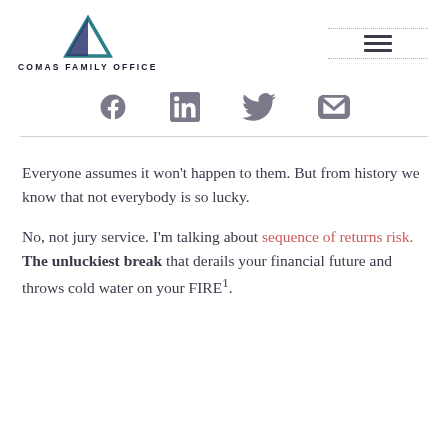COMAS FAMILY OFFICE
[Figure (logo): Comas Family Office logo with teal/navy triangle and company name]
[Figure (infographic): Social media icons: Facebook, LinkedIn, Twitter, Email]
Everyone assumes it won't happen to them. But from history we know that not everybody is so lucky.
No, not jury service. I'm talking about sequence of returns risk. The unluckiest break that derails your financial future and throws cold water on your FIRE1.